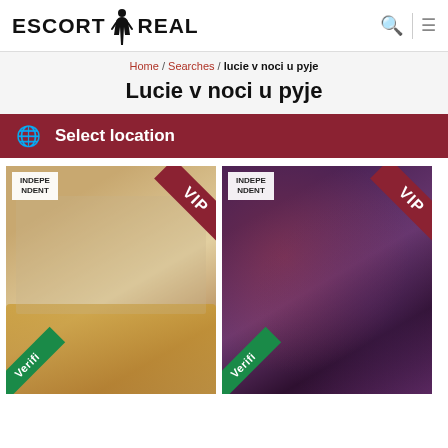ESCORT REAL
Home / Searches / lucie v noci u pyje
Lucie v noci u pyje
Select location
[Figure (photo): Photo card 1: Woman in white outfit seated on couch, INDEPENDENT badge, VIP ribbon, Verified ribbon]
[Figure (photo): Photo card 2: Woman taking mirror selfie in dark outfit, INDEPENDENT badge, VIP ribbon, Verified ribbon]